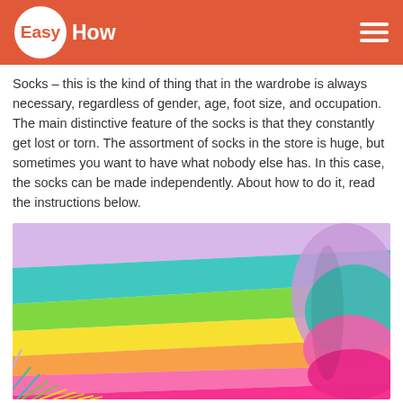Easy How
Socks – this is the kind of thing that in the wardrobe is always necessary, regardless of gender, age, foot size, and occupation. The main distinctive feature of the socks is that they constantly get lost or torn. The assortment of socks in the store is huge, but sometimes you want to have what nobody else has. In this case, the socks can be made independently. About how to do it, read the instructions below.
[Figure (photo): Colorful striped knitted scarf or textile with rainbow colors (purple, teal, green, yellow, orange, pink) with fringe ends, folded and displayed against a light background.]
How to knit a striped